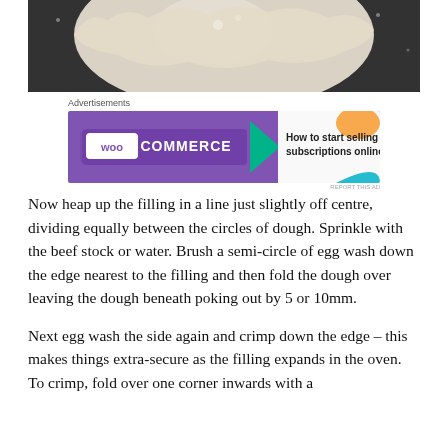[Figure (photo): Close-up photo of a pale circular disc of dough on a dark floured surface, partially cut off at edges.]
[Figure (illustration): WooCommerce advertisement banner: purple background with WooCommerce logo on the left, green arrow shape, and text 'How to start selling subscriptions online' on the right with orange and teal decorative shapes.]
Now heap up the filling in a line just slightly off centre, dividing equally between the circles of dough. Sprinkle with the beef stock or water. Brush a semi-circle of egg wash down the edge nearest to the filling and then fold the dough over leaving the dough beneath poking out by 5 or 10mm.
Next egg wash the side again and crimp down the edge – this makes things extra-secure as the filling expands in the oven. To crimp, fold over one corner inwards with a